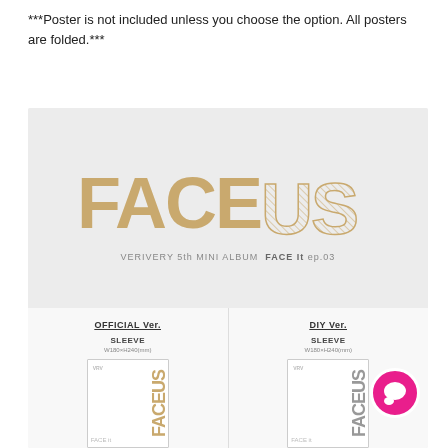***Poster is not included unless you choose the option. All posters are folded.***
[Figure (photo): VERIVERY 5th Mini Album FACE It ep.03 'FACEUS' album product image showing the logo in gold/tan letters ('FACE' solid, 'US' outline with hatching pattern) and below it two version sleeves: OFFICIAL Ver. (gold text) and DIY Ver. (gray text), each showing a tall white sleeve card with 'FACE US' text on the spine. A magenta circle chat button is visible at bottom right.]